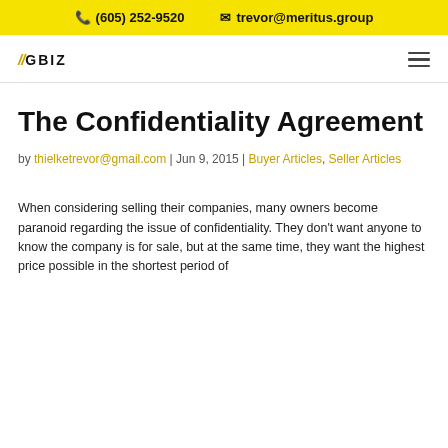(605) 252-9520  trevor@meritus.group
[Figure (logo): GBIZ logo with italic slashes and bold text]
The Confidentiality Agreement
by thielketrevor@gmail.com | Jun 9, 2015 | Buyer Articles, Seller Articles
When considering selling their companies, many owners become paranoid regarding the issue of confidentiality. They don't want anyone to know the company is for sale, but at the same time, they want the highest price possible in the shortest period of